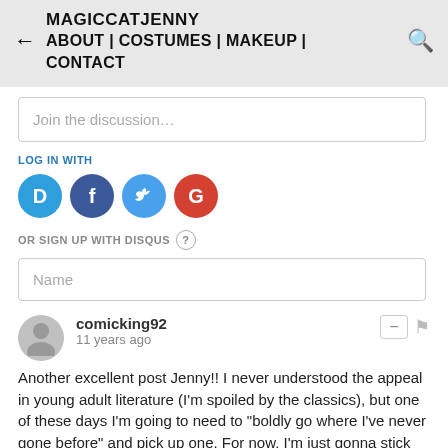MAGICCATJENNY ABOUT | COSTUMES | MAKEUP | CONTACT
Join the discussion…
LOG IN WITH
[Figure (illustration): Four social login icons: Disqus (D, blue circle), Facebook (f, dark blue circle), Twitter (bird, light blue circle), Google (G, red circle)]
OR SIGN UP WITH DISQUS ?
Name
comicking92
11 years ago
Another excellent post Jenny!! I never understood the appeal in young adult literature (I'm spoiled by the classics), but one of these days I'm going to need to "boldly go where I've never gone before" and pick up one. For now, I'm just gonna stick with my usual brand of